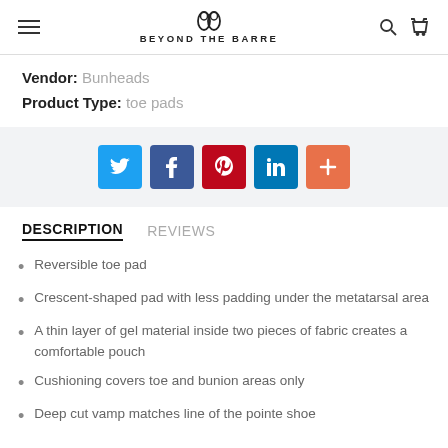BEYOND THE BARRE
Vendor: Bunheads
Product Type: toe pads
[Figure (infographic): Social share buttons: Twitter (blue), Facebook (dark blue), Pinterest (red), LinkedIn (teal blue), Plus/More (orange)]
DESCRIPTION    REVIEWS
Reversible toe pad
Crescent-shaped pad with less padding under the metatarsal area
A thin layer of gel material inside two pieces of fabric creates a comfortable pouch
Cushioning covers toe and bunion areas only
Deep cut vamp matches line of the pointe shoe